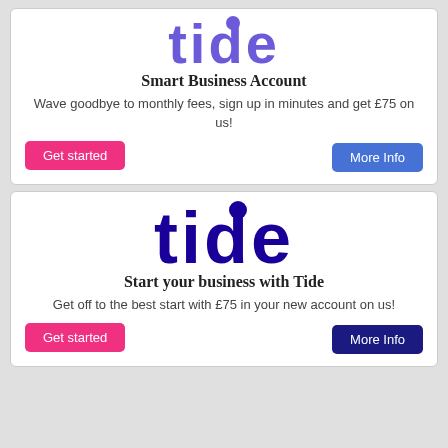[Figure (logo): Tide logo in purple/violet color]
Smart Business Account
Wave goodbye to monthly fees, sign up in minutes and get £75 on us!
Get started
More Info
[Figure (logo): Tide logo in dark navy/blue color]
Start your business with Tide
Get off to the best start with £75 in your new account on us!
Get started
More Info